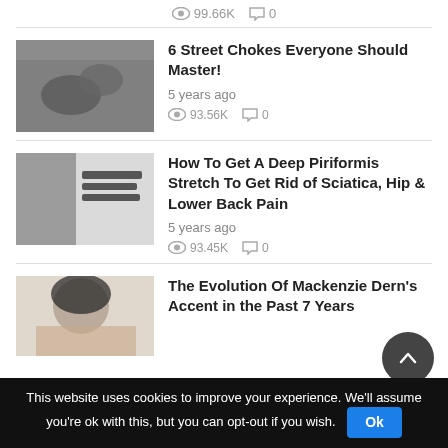99.66K  0
[Figure (photo): Two people practicing martial arts/grappling on the ground outdoors]
6 Street Chokes Everyone Should Master!
5 years ago
93.56K  0
[Figure (photo): Man with text overlay '6 Sciatica Exercises to stretch away pain']
How To Get A Deep Piriformis Stretch To Get Rid of Sciatica, Hip & Lower Back Pain
5 years ago
93.45K  0
[Figure (photo): Woman with dark hair smiling, partial view]
The Evolution Of Mackenzie Dern's Accent in the Past 7 Years
This website uses cookies to improve your experience. We'll assume you're ok with this, but you can opt-out if you wish.  Ok